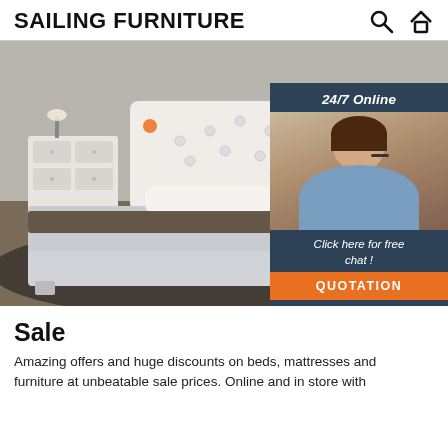SAILING FURNITURE
[Figure (photo): Bedroom scene with a white upholstered bed with tufted headboard, white dresser, dark rug, and wooden floor. Overlaid with a customer support chat widget showing a smiling woman wearing a headset, with '24/7 Online' header, 'Click here for free chat!' text, and an orange QUOTATION button.]
Sale
Amazing offers and huge discounts on beds, mattresses and furniture at unbeatable sale prices. Online and in store with